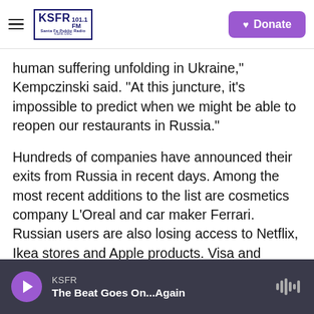KSFR 101.1 FM Santa Fe Public Radio — Donate
human suffering unfolding in Ukraine," Kempczinski said. "At this juncture, it's impossible to predict when we might be able to reopen our restaurants in Russia."
Hundreds of companies have announced their exits from Russia in recent days. Among the most recent additions to the list are cosmetics company L'Oreal and car maker Ferrari. Russian users are also losing access to Netflix, Ikea stores and Apple products. Visa and Mastercard have restricted use by Russian holders.
KSFR — The Beat Goes On...Again